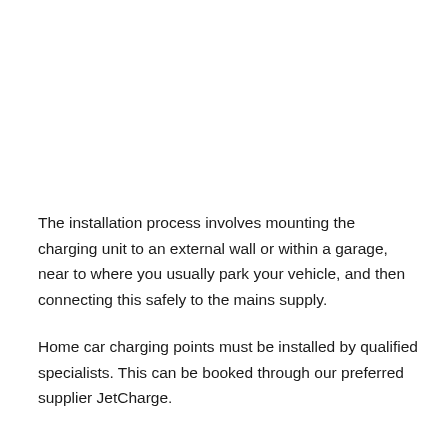The installation process involves mounting the charging unit to an external wall or within a garage, near to where you usually park your vehicle, and then connecting this safely to the mains supply.
Home car charging points must be installed by qualified specialists. This can be booked through our preferred supplier JetCharge.